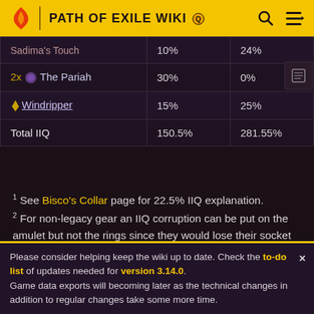PATH OF EXILE WIKI
| Item | IIQ Col 1 | IIQ Col 2 |
| --- | --- | --- |
| Sadima's Touch | 10% | 24% |
| 2x The Pariah | 30% | 0% |
| Windripper | 15% | 25% |
| Total IIQ | 150.5% | 281.55% |
1 See Bisco's Collar page for 22.5% IIQ explanation.
2 For non-legacy gear an IIQ corruption can be put on the amulet but not the rings since they would lose their socket implicits. For legacy gear IIQ corruptions can be put on the rings, amulet, and belt resulting in an additional
Please consider helping keep the wiki up to date. Check the to-do list of updates needed for version 3.14.0. Game data exports will becoming later as the technical changes in addition to regular changes take some more time.